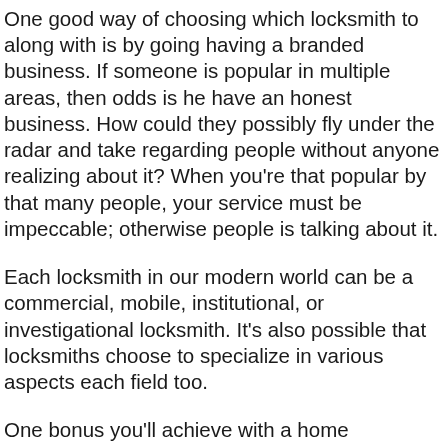One good way of choosing which locksmith to along with is by going having a branded business. If someone is popular in multiple areas, then odds is he have an honest business. How could they possibly fly under the radar and take regarding people without anyone realizing about it? When you're that popular by that many people, your service must be impeccable; otherwise people is talking about it.
Each locksmith in our modern world can be a commercial, mobile, institutional, or investigational locksmith. It's also possible that locksmiths choose to specialize in various aspects each field too.
One bonus you'll achieve with a home locksmiths are the free cards they often give. So don't try and